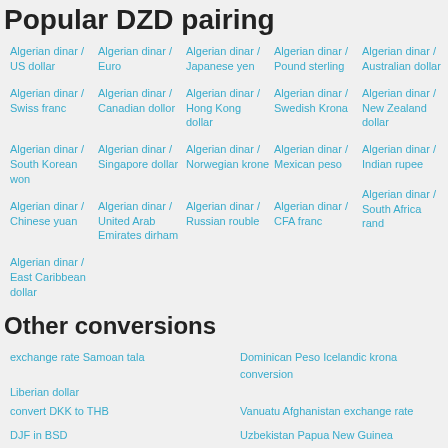Popular DZD pairing
Algerian dinar / US dollar
Algerian dinar / Euro
Algerian dinar / Japanese yen
Algerian dinar / Pound sterling
Algerian dinar / Australian dollar
Algerian dinar / Swiss franc
Algerian dinar / Canadian dollor
Algerian dinar / Hong Kong dollar
Algerian dinar / Swedish Krona
Algerian dinar / New Zealand dollar
Algerian dinar / South Korean won
Algerian dinar / Singapore dollar
Algerian dinar / Norwegian krone
Algerian dinar / Mexican peso
Algerian dinar / Indian rupee
Algerian dinar / South Africa rand
Algerian dinar / Chinese yuan
Algerian dinar / United Arab Emirates dirham
Algerian dinar / Russian rouble
Algerian dinar / CFA franc
Algerian dinar / East Caribbean dollar
Other conversions
exchange rate Samoan tala
Dominican Peso Icelandic krona conversion
Liberian dollar
convert DKK to THB
Vanuatu Afghanistan exchange rate
DJF in BSD
Uzbekistan Papua New Guinea